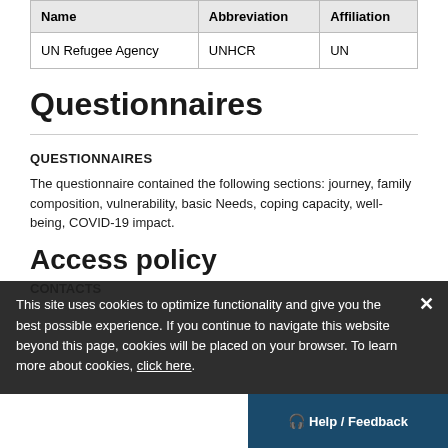| Name | Abbreviation | Affiliation |
| --- | --- | --- |
| UN Refugee Agency | UNHCR | UN |
Questionnaires
QUESTIONNAIRES
The questionnaire contained the following sections: journey, family composition, vulnerability, basic Needs, coping capacity, well-being, COVID-19 impact.
Access policy
CONTACTS
This site uses cookies to optimize functionality and give you the best possible experience. If you continue to navigate this website beyond this page, cookies will be placed on your browser. To learn more about cookies, click here.